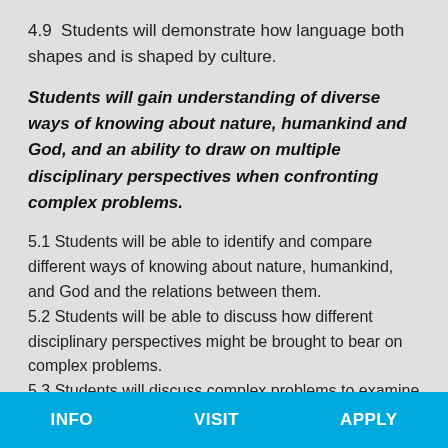4.9  Students will demonstrate how language both shapes and is shaped by culture.
Students will gain understanding of diverse ways of knowing about nature, humankind and God, and an ability to draw on multiple disciplinary perspectives when confronting complex problems.
5.1 Students will be able to identify and compare different ways of knowing about nature, humankind, and God and the relations between them.
5.2 Students will be able to discuss how different disciplinary perspectives might be brought to bear on complex problems.
5.3 Students will discuss complex problems to examine different conceptions of the relations
INFO   VISIT   APPLY